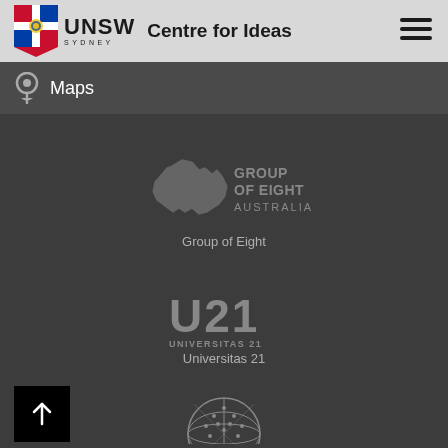UNSW Sydney Centre for Ideas
Maps
[Figure (logo): Group of Eight Australia logo — geometric Australia map outline in grey with GROUP OF EIGHT AUSTRALIA text]
Group of Eight
[Figure (logo): U21 Universitas 21 logo — large U21 text with UNIVERSITAS 21 beneath in grey]
Universitas 21
[Figure (logo): Partial globe/sphere logo visible at bottom of page in grey]